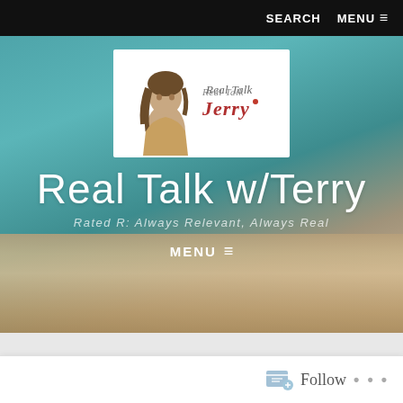SEARCH   MENU ≡
[Figure (logo): Real Talk w/Terry logo showing a woman with braids and script text]
Real Talk w/Terry
Rated R: Always Relevant, Always Real
MENU ≡
Follow  ...